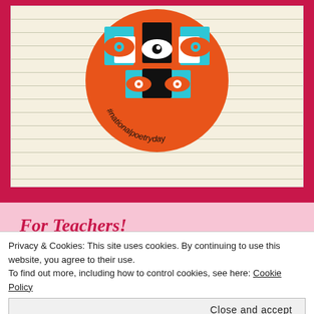[Figure (logo): National Poetry Day circular logo on a cream notebook background. Orange circle with stylized fish/eye shapes in cyan, black, and white. Text along the bottom reads '#nationalpoetryday' in a curved arc.]
For Teachers!
Privacy & Cookies: This site uses cookies. By continuing to use this website, you agree to their use.
To find out more, including how to control cookies, see here: Cookie Policy
Close and accept
Making a Kite Poem